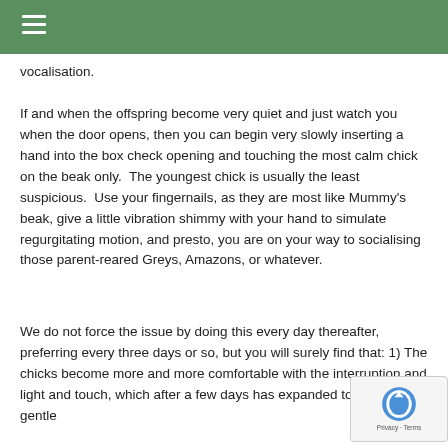≡
vocalisation.
If and when the offspring become very quiet and just watch you when the door opens, then you can begin very slowly inserting a hand into the box check opening and touching the most calm chick on the beak only.  The youngest chick is usually the least suspicious.  Use your fingernails, as they are most like Mummy's beak, give a little vibration shimmy with your hand to simulate regurgitating motion, and presto, you are on your way to socialising those parent-reared Greys, Amazons, or whatever.
We do not force the issue by doing this every day thereafter, preferring every three days or so, but you will surely find that: 1) The chicks become more and more comfortable with the interruption and light and touch, which after a few days has expanded to soft and gentle...